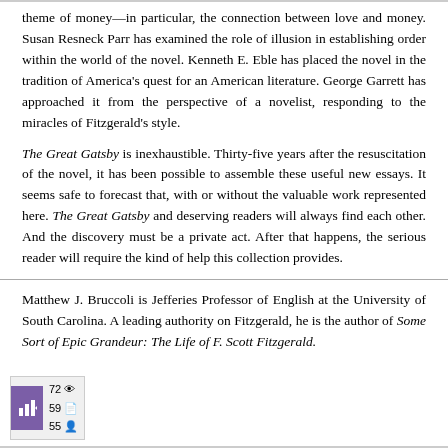theme of money—in particular, the connection between love and money. Susan Resneck Parr has examined the role of illusion in establishing order within the world of the novel. Kenneth E. Eble has placed the novel in the tradition of America's quest for an American literature. George Garrett has approached it from the perspective of a novelist, responding to the miracles of Fitzgerald's style.
The Great Gatsby is inexhaustible. Thirty-five years after the resuscitation of the novel, it has been possible to assemble these useful new essays. It seems safe to forecast that, with or without the valuable work represented here. The Great Gatsby and deserving readers will always find each other. And the discovery must be a private act. After that happens, the serious reader will require the kind of help this collection provides.
Matthew J. Bruccoli is Jefferies Professor of English at the University of South Carolina. A leading authority on Fitzgerald, he is the author of Some Sort of Epic Grandeur: The Life of F. Scott Fitzgerald.
[Figure (other): Small widget/badge showing page statistics: 72 views, 59 items, 55 people icons, with a purple arrow/chart icon on the left]